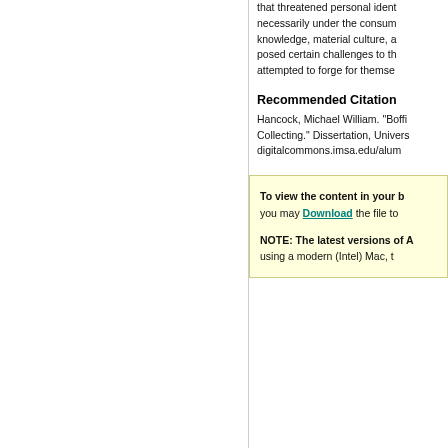that threatened personal identity necessarily under the consumer knowledge, material culture, and posed certain challenges to the attempted to forge for themselves
Recommended Citation
Hancock, Michael William. "Boffi Collecting." Dissertation, University digitalcommons.imsa.edu/alum
To view the content in your browser, you may Download the file to your hard drive.

NOTE: The latest versions of Adobe Reader do not support viewing PDF files within Firefox on Mac OS and if you are using a modern (Intel) Mac, t